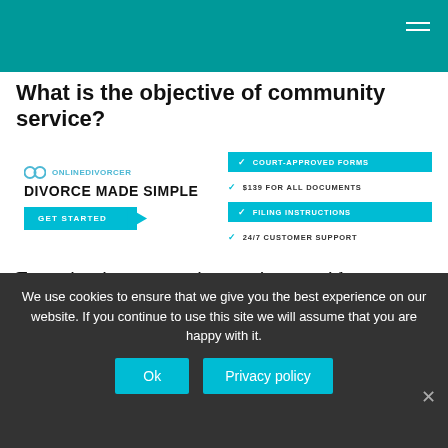What is the objective of community service?
[Figure (infographic): OnlineDivorcer advertisement banner with logo, tagline 'DIVORCE MADE SIMPLE', 'GET STARTED' button, and feature list: COURT-APPROVED FORMS, $139 FOR ALL DOCUMENTS, FILING INSTRUCTIONS, 24/7 CUSTOMER SUPPORT]
Engaging in community service provides students with the opportunity to become active members of their community and has a lasting, positive impact on society at large.
We use cookies to ensure that we give you the best experience on our website. If you continue to use this site we will assume that you are happy with it.